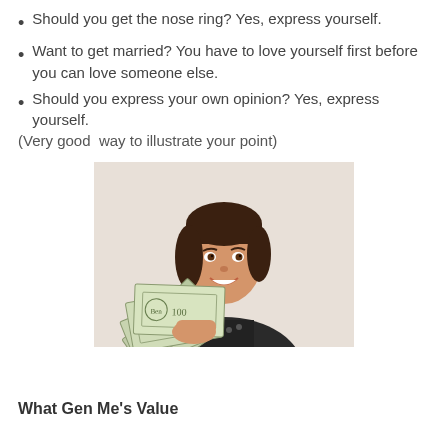Should you get the nose ring? Yes, express yourself.
Want to get married? You have to love yourself first before you can love someone else.
Should you express your own opinion? Yes, express yourself.
(Very good  way to illustrate your point)
[Figure (photo): A smiling woman holding a fan of US $100 dollar bills, wearing a black top, photographed against a white background.]
What Gen Me’s Value